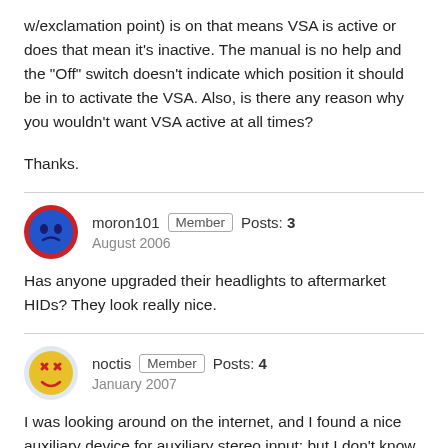w/exclamation point) is on that means VSA is active or does that mean it's inactive. The manual is no help and the "Off" switch doesn't indicate which position it should be in to activate the VSA. Also, is there any reason why you wouldn't want VSA active at all times?
Thanks.
moron101  Member  Posts: 3  August 2006
Has anyone upgraded their headlights to aftermarket HIDs? They look really nice.
noctis  Member  Posts: 4  January 2007
I was looking around on the internet, and I found a nice auxiliary device for auxiliary stereo input; but I don't know what